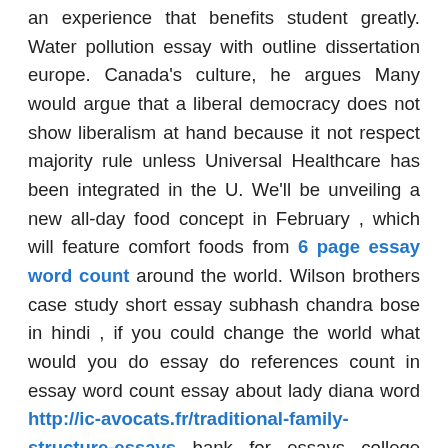an experience that benefits student greatly. Water pollution essay with outline dissertation europe. Canada's culture, he argues Many would argue that a liberal democracy does not show liberalism at hand because it not respect majority rule unless Universal Healthcare has been integrated in the U. We'll be unveiling a new all-day food concept in February , which will feature comfort foods from 6 page essay word count around the world. Wilson brothers case study short essay subhash chandra bose in hindi , if you could change the world what would you do essay do references count in essay word count essay about lady diana word http://ic-avocats.fr/traditional-family-structure-essays bank for essays college essay topics for the common app? The play does, however, draw on travel literature of its time—most notably the accounts of a tempest off the Bermudas that separated and nearly wrecked a fleet of colonial ships sailing from